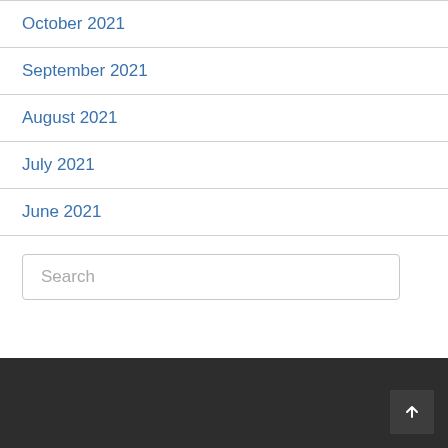October 2021
September 2021
August 2021
July 2021
June 2021
Search